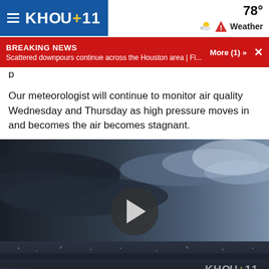KHOU 11 — 78° Weather
BREAKING NEWS — Scattered downpours continue across the Houston area | Fl... More (1) »
Our meteorologist will continue to monitor air quality Wednesday and Thursday as high pressure moves in and becomes the air becomes stagnant.
[Figure (photo): Aerial video thumbnail showing stormy skies over Houston with dark cloud coverage on the left and lighter sky on the right, city visible below. Large circular play button in center. Caption reads 'Raw video. No audio'. KHOU 11 watermark bottom right.]